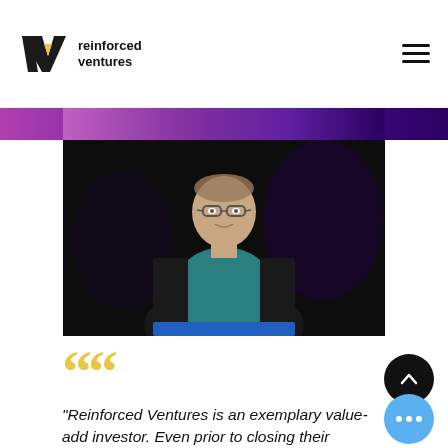reinforced ventures
[Figure (photo): A man with glasses wearing a teal shirt and black blazer speaking at a presentation against a dark background]
"Reinforced Ventures is an exemplary value-add investor. Even prior to closing their investment, they